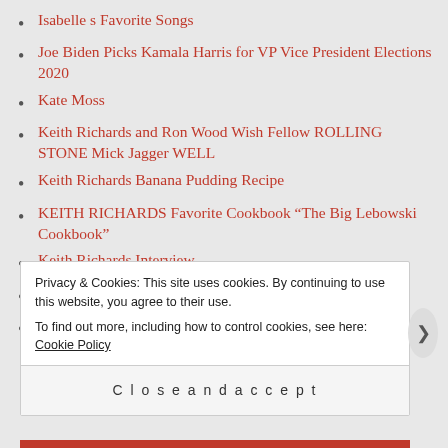Isabelle s Favorite Songs
Joe Biden Picks Kamala Harris for VP Vice President Elections 2020
Kate Moss
Keith Richards and Ron Wood Wish Fellow ROLLING STONE Mick Jagger WELL
Keith Richards Banana Pudding Recipe
KEITH RICHARDS Favorite Cookbook “The Big Lebowski Cookbook”
Keith Richards Interview
Kentucky Fried Chicken Secret Recipe
Kindle Unlimted a Dodo Bird
Privacy & Cookies: This site uses cookies. By continuing to use this website, you agree to their use.
To find out more, including how to control cookies, see here: Cookie Policy
Close and accept